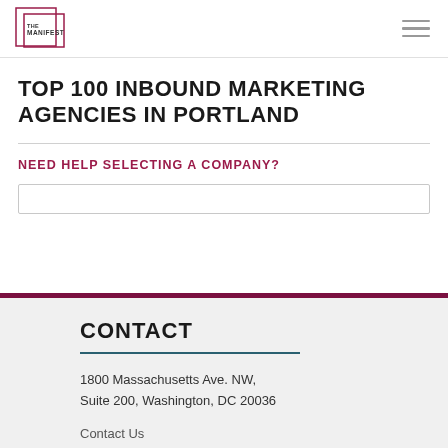THE MANIFEST
TOP 100 INBOUND MARKETING AGENCIES IN PORTLAND
NEED HELP SELECTING A COMPANY?
CONTACT
1800 Massachusetts Ave. NW, Suite 200, Washington, DC 20036
Contact Us
Give Us Feedback